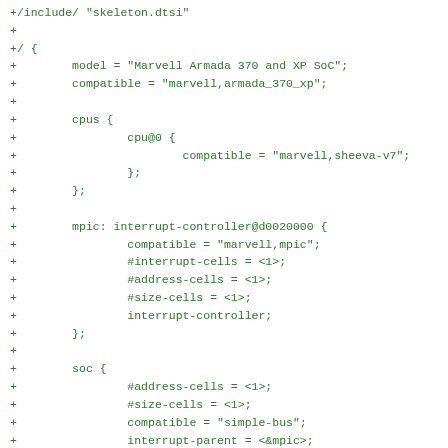+/include/ "skeleton.dtsi"
+
+/ {
+        model = "Marvell Armada 370 and XP SoC";
+        compatible = "marvell,armada_370_xp";
+
+        cpus {
+                cpu@0 {
+                        compatible = "marvell,sheeva-v7";
+                };
+        };
+
+        mpic: interrupt-controller@d0020000 {
+                compatible = "marvell,mpic";
+                #interrupt-cells = <1>;
+                #address-cells = <1>;
+                #size-cells = <1>;
+                interrupt-controller;
+        };
+
+        soc {
+                #address-cells = <1>;
+                #size-cells = <1>;
+                compatible = "simple-bus";
+                interrupt-parent = <&mpic>;
+                ranges;